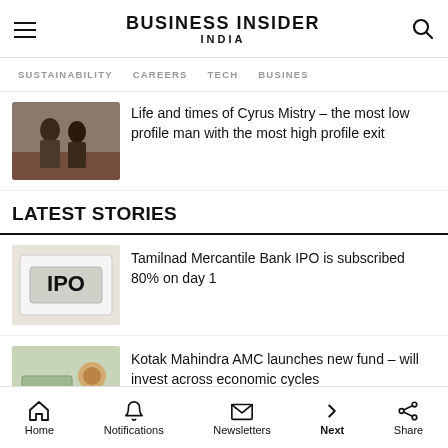BUSINESS INSIDER INDIA
SUSTAINABILITY   CAREERS   TECH   BUSINESS
Life and times of Cyrus Mistry – the most low profile man with the most high profile exit
LATEST STORIES
Tamilnad Mercantile Bank IPO is subscribed 80% on day 1
Kotak Mahindra AMC launches new fund – will invest across economic cycles
Funding winter is here for tech startups and will go on for 12-18 months: Tracxn
Home   Notifications   Newsletters   Next   Share